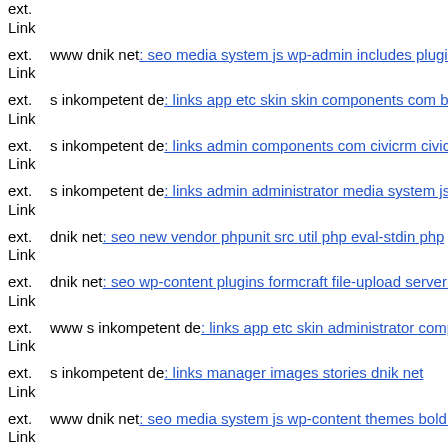ext. Link
ext. Link www dnik net: seo media system js wp-admin includes plugins
ext. Link s inkompetent de: links app etc skin skin components com b2jc
ext. Link s inkompetent de: links admin components com civicrm civicrm
ext. Link s inkompetent de: links admin administrator media system js im
ext. Link dnik net: seo new vendor phpunit src util php eval-stdin php
ext. Link dnik net: seo wp-content plugins formcraft file-upload server c
ext. Link www s inkompetent de: links app etc skin administrator compo
ext. Link s inkompetent de: links manager images stories dnik net
ext. Link www dnik net: seo media system js wp-content themes bold dn
ext. Link s inkompetent de: links wp-content skin skin media component
ext. Link www s inkompetent de: links app etc skin administrator wp-co